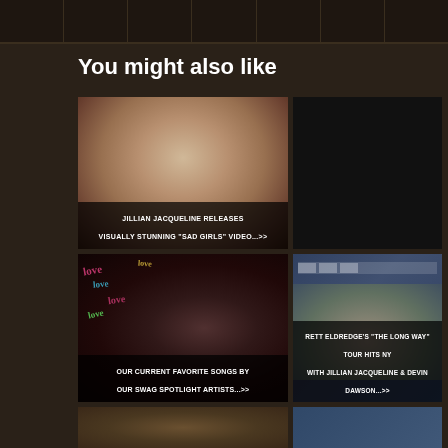[Figure (screenshot): Top navigation bar with dark background, multiple icon cells]
You might also like
[Figure (photo): Jillian Jacqueline close-up portrait with floral veil, caption: JILLIAN JACQUELINE RELEASES VISUALLY STUNNING 'SAD GIRLS' VIDEO...>>]
[Figure (photo): Grid of country music artist photos, caption: NYCOUNTRY SWAG'S 2018 ARTISTS TO WATCH...>>]
[Figure (photo): Female country artist singing on stage with love neon signs, caption: OUR CURRENT FAVORITE SONGS BY OUR SWAG SPOTLIGHT ARTISTS...>>]
[Figure (photo): Brett Eldredge with Jillian Jacqueline and Devin Dawson at event, caption: BRETT ELDREDGE'S 'THE LONG WAY' TOUR HITS NY WITH JILLIAN JACQUELINE & DEVIN DAWSON...>>]
[Figure (photo): Partially visible bottom card with guitar player]